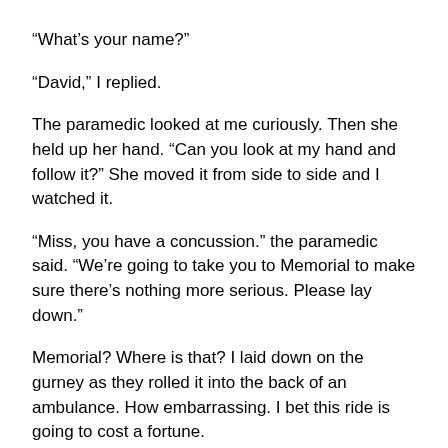“What’s your name?”
“David,” I replied.
The paramedic looked at me curiously. Then she held up her hand. “Can you look at my hand and follow it?” She moved it from side to side and I watched it.
“Miss, you have a concussion.” the paramedic said. “We’re going to take you to Memorial to make sure there’s nothing more serious. Please lay down.”
Memorial? Where is that? I laid down on the gurney as they rolled it into the back of an ambulance. How embarrassing. I bet this ride is going to cost a fortune.
The moment the ambulance started to move, I drifted off to sleep.
* * *